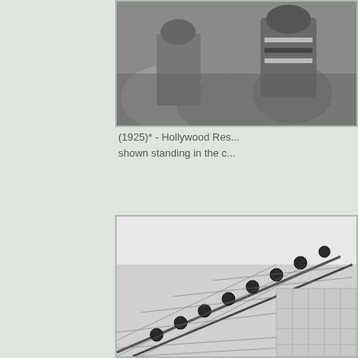[Figure (photo): Black and white photograph showing people, cropped at top of page, right side]
(1925)* - Hollywood Res... shown standing in the c...
[Figure (photo): Black and white photograph showing a building roof or structure with decorative elements, bottom right of page]